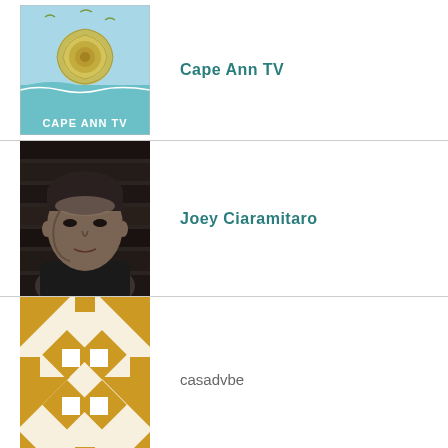[Figure (logo): Cape Ann TV logo with nautilus shell and birds on blue/green background]
Cape Ann TV
[Figure (photo): Black and white headshot photo of a man (Joey Ciaramitaro)]
Joey Ciaramitaro
[Figure (logo): Gold and white geometric abstract pattern logo for casadvbe]
casadvbe
[Figure (logo): Partial green and lime geometric logo visible at bottom]